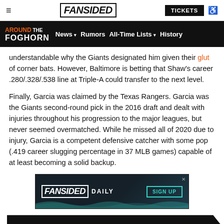FanSided | TICKETS
AROUND THE FOGHORN | News | Rumors | All-Time Lists | History
understandable why the Giants designated him given their glut of corner bats. However, Baltimore is betting that Shaw's career .280/.328/.538 line at Triple-A could transfer to the next level.
Finally, Garcia was claimed by the Texas Rangers. Garcia was the Giants second-round pick in the 2016 draft and dealt with injuries throughout his progression to the major leagues, but never seemed overmatched. While he missed all of 2020 due to injury, Garcia is a competent defensive catcher with some pop (.419 career slugging percentage in 37 MLB games) capable of at least becoming a solid backup.
[Figure (screenshot): FanSided Daily advertisement banner with SIGN UP button]
NEXT: SF Giants Close To Hiring New Coach